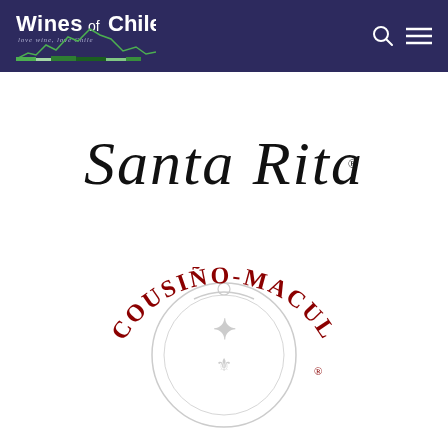[Figure (logo): Wines of Chile website header with logo on dark navy/purple background, search icon and hamburger menu on right]
[Figure (logo): Santa Rita winery logo in elegant black cursive script]
[Figure (logo): Cousiño-Macul winery logo in dark red arched text with decorative circular crest watermark]